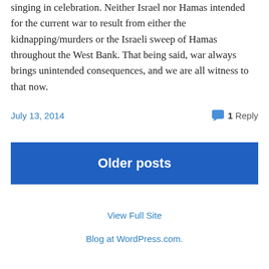singing in celebration. Neither Israel nor Hamas intended for the current war to result from either the kidnapping/murders or the Israeli sweep of Hamas throughout the West Bank. That being said, war always brings unintended consequences, and we are all witness to that now.
July 13, 2014
1 Reply
Older posts
View Full Site
Blog at WordPress.com.